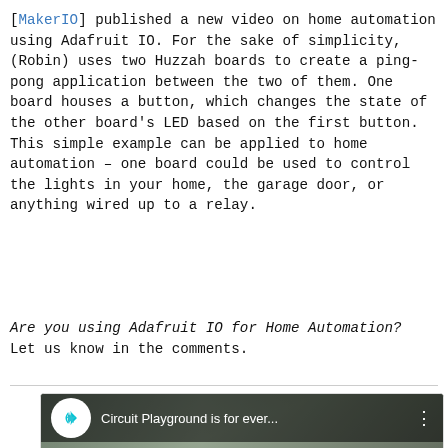[MakerIO] published a new video on home automation using Adafruit IO. For the sake of simplicity, (Robin) uses two Huzzah boards to create a ping-pong application between the two of them. One board houses a button, which changes the state of the other board's LED based on the first button. This simple example can be applied to home automation – one board could be used to control the lights in your home, the garage door, or anything wired up to a relay.
Are you using Adafruit IO for Home Automation? Let us know in the comments.
[Figure (screenshot): YouTube video thumbnail showing 'Circuit Playground is for ever...' with a cyan star logo, a woman with pink hair and glasses, and a YouTube play button overlay.]